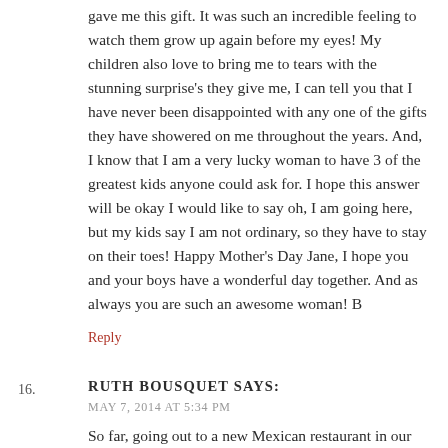gave me this gift. It was such an incredible feeling to watch them grow up again before my eyes! My children also love to bring me to tears with the stunning surprise's they give me, I can tell you that I have never been disappointed with any one of the gifts they have showered on me throughout the years. And, I know that I am a very lucky woman to have 3 of the greatest kids anyone could ask for. I hope this answer will be okay I would like to say oh, I am going here, but my kids say I am not ordinary, so they have to stay on their toes! Happy Mother's Day Jane, I hope you and your boys have a wonderful day together. And as always you are such an awesome woman! B
Reply
16.
RUTH BOUSQUET SAYS:
MAY 7, 2014 AT 5:34 PM
So far, going out to a new Mexican restaurant in our